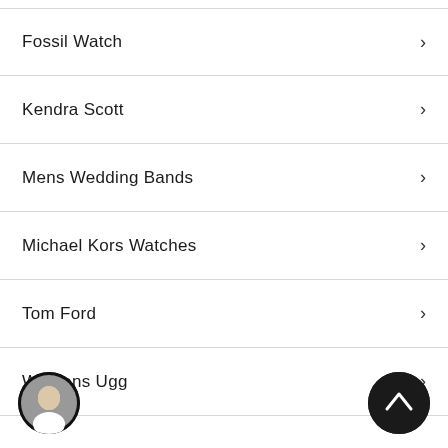Fossil Watch
Kendra Scott
Mens Wedding Bands
Michael Kors Watches
Tom Ford
Womens Ugg
[Figure (illustration): Bottom navigation bar with user avatar circle on left and scroll-to-top button (up arrow) on right]